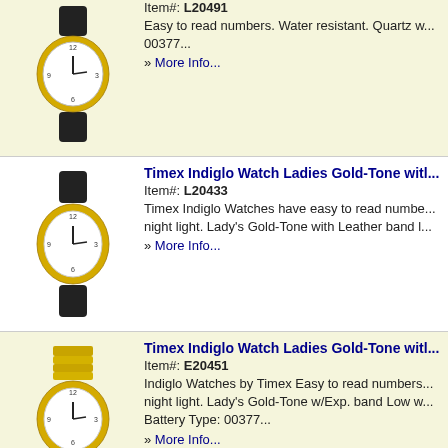[Figure (photo): Timex watch with black leather band, gold case, white dial]
Item#: L20491
Easy to read numbers. Water resistant. Quartz w... 00377...
» More Info...
[Figure (photo): Timex Indiglo ladies watch with black leather band, gold case]
Timex Indiglo Watch Ladies Gold-Tone with...
Item#: L20433
Timex Indiglo Watches have easy to read numbers... night light. Lady's Gold-Tone with Leather band l...
» More Info...
[Figure (photo): Timex Indiglo ladies watch with gold expansion band]
Timex Indiglo Watch Ladies Gold-Tone with...
Item#: E20451
Indiglo Watches by Timex Easy to read numbers... night light. Lady's Gold-Tone w/Exp. band Low w... Battery Type: 00377...
» More Info...
Tel-Time Low Vision Talking Chrome Pocke...